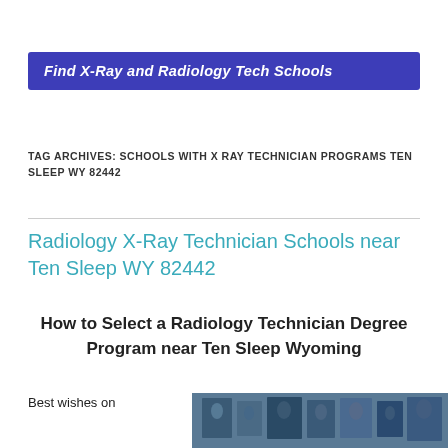Find X-Ray and Radiology Tech Schools
TAG ARCHIVES: SCHOOLS WITH X RAY TECHNICIAN PROGRAMS TEN SLEEP WY 82442
Radiology X-Ray Technician Schools near Ten Sleep WY 82442
How to Select a Radiology Technician Degree Program near Ten Sleep Wyoming
Best wishes on
[Figure (photo): Photo showing radiology/x-ray related images on a wall or display]